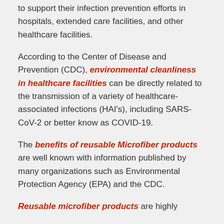to support their infection prevention efforts in hospitals, extended care facilities, and other healthcare facilities.
According to the Center of Disease and Prevention (CDC), environmental cleanliness in healthcare facilities can be directly related to the transmission of a variety of healthcare-associated infections (HAI's), including SARS-CoV-2 or better know as COVID-19.
The benefits of reusable Microfiber products are well known with information published by many organizations such as Environmental Protection Agency (EPA) and the CDC.
Reusable microfiber products are highly